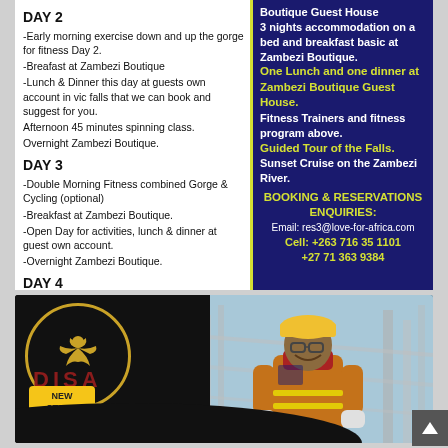DAY 2
-Early morning exercise down and up the gorge for fitness Day 2.
-Breafast at Zambezi Boutique
-Lunch & Dinner this day at guests own account in vic falls that we can book and suggest for you.
Afternoon 45 minutes spinning class.
Overnight Zambezi Boutique.
DAY 3
-Double Morning Fitness combined Gorge & Cycling (optional)
-Breakfast at Zambezi Boutique.
-Open Day for activities, lunch & dinner at guest own account.
-Overnight Zambezi Boutique.
DAY 4
-Morning cardio & boxing in the Vic Falls Boxing Club Gym.
-Breakfast at Zambezi Boutique.
-Depart for Vic Falls Airport for flight to Harare.
Boutique Guest House
3 nights accommodation on a bed and breakfast basic at Zambezi Boutique.
One Lunch and one dinner at Zambezi Boutique Guest House.
Fitness Trainers and fitness program above.
Guided Tour of the Falls.
Sunset Cruise on the Zambezi River.
BOOKING & RESERVATIONS ENQUIRIES:
Email: res3@love-for-africa.com
Cell: +263 716 35 1101
+27 71 363 9384
[Figure (logo): DISA logo with circular golden emblem and red DISA text]
NEW
STOCK
AVAILABLE
[Figure (photo): Woman in hard hat and safety vest smiling, industrial background]